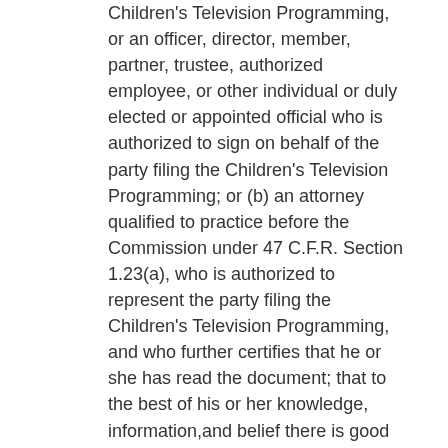Children's Television Programming, or an officer, director, member, partner, trustee, authorized employee, or other individual or duly elected or appointed official who is authorized to sign on behalf of the party filing the Children's Television Programming; or (b) an attorney qualified to practice before the Commission under 47 C.F.R. Section 1.23(a), who is authorized to represent the party filing the Children's Television Programming, and who further certifies that he or she has read the document; that to the best of his or her knowledge, information,and belief there is good ground to support it; and that it is not interposed for delay.
FAILURE TO SIGN THIS APPLICATION MAY RESULT IN